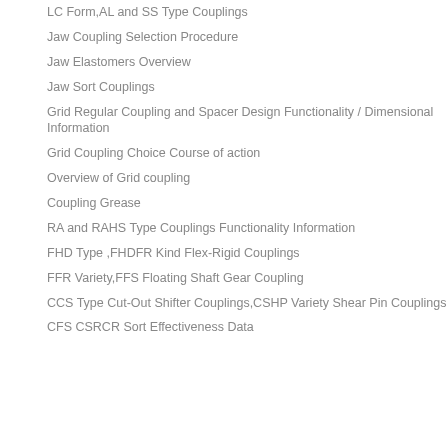LC Form,AL and SS Type Couplings
Jaw Coupling Selection Procedure
Jaw Elastomers Overview
Jaw Sort Couplings
Grid Regular Coupling and Spacer Design Functionality / Dimensional Information
Grid Coupling Choice Course of action
Overview of Grid coupling
Coupling Grease
RA and RAHS Type Couplings Functionality Information
FHD Type ,FHDFR Kind Flex-Rigid Couplings
FFR Variety,FFS Floating Shaft Gear Coupling
CCS Type Cut-Out Shifter Couplings,CSHP Variety Shear Pin Couplings
CFS CSRCR Sort Effectiveness Data